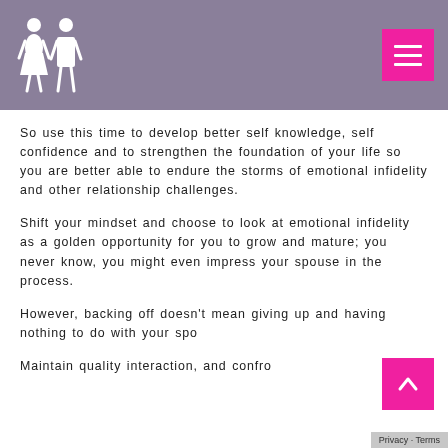[Figure (logo): Two white human figures (couple) icon on purple/mauve header background]
So use this time to develop better self knowledge, self confidence and to strengthen the foundation of your life so you are better able to endure the storms of emotional infidelity and other relationship challenges.
Shift your mindset and choose to look at emotional infidelity as a golden opportunity for you to grow and mature; you never know, you might even impress your spouse in the process.
However, backing off doesn't mean giving up and having nothing to do with your spo…
Maintain quality interaction, and confro…